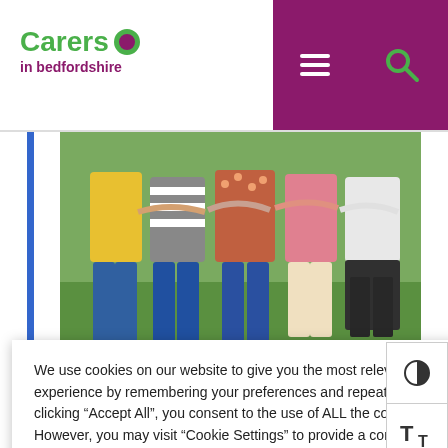[Figure (screenshot): Carers in Bedfordshire website screenshot showing logo, navigation header with hamburger menu and search icon on purple background, a hero photo of people with arms around each other outdoors, a cookie consent dialog, and a partial photo of pottery/ceramics]
We use cookies on our website to give you the most relevant experience by remembering your preferences and repeat visits. By clicking “Accept All”, you consent to the use of ALL the cookies. However, you may visit “Cookie Settings” to provide a controlled consent.
Cookie Settings
Accept All